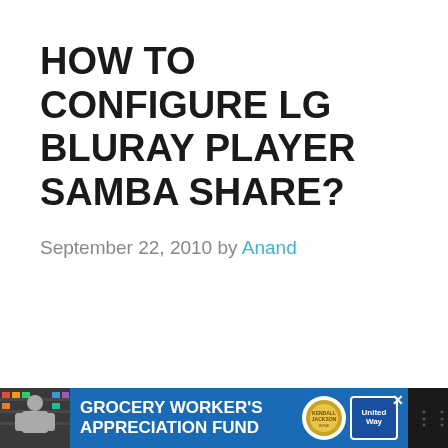HOW TO CONFIGURE LG BLURAY PLAYER SAMBA SHARE?
September 22, 2010 by Anand
[Figure (other): Advertisement banner at the bottom: Grocery Worker's Appreciation Fund with Kendall-Jackson and United Way logos]